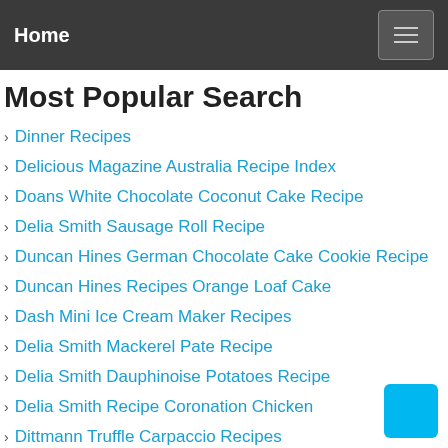Home
Most Popular Search
Dinner Recipes
Delicious Magazine Australia Recipe Index
Doans White Chocolate Coconut Cake Recipe
Delia Smith Sausage Roll Recipe
Duncan Hines German Chocolate Cake Cookie Recipe
Duncan Hines Recipes Orange Loaf Cake
Dash Mini Ice Cream Maker Recipes
Delia Smith Mackerel Pate Recipe
Delia Smith Dauphinoise Potatoes Recipe
Delia Smith Recipe Coronation Chicken
Dittmann Truffle Carpaccio Recipes
Davids Catfish Coleslaw Dressing Recipe